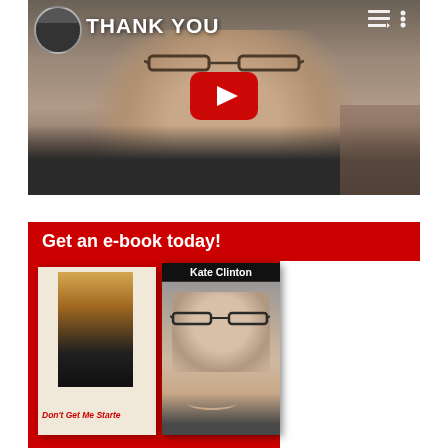[Figure (screenshot): YouTube video thumbnail showing a woman smiling, with THANK YOU text overlay and YouTube play button]
[Figure (screenshot): E-book promotional section with red background showing two book covers: 'Don't Get Me Started' and 'Kate Clinton']